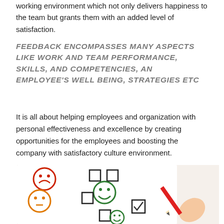working environment which not only delivers happiness to the team but grants them with an added level of satisfaction.
FEEDBACK ENCOMPASSES MANY ASPECTS LIKE WORK AND TEAM PERFORMANCE, SKILLS, AND COMPETENCIES, AN EMPLOYEE'S WELL BEING, STRATEGIES ETC
It is all about helping employees and organization with personal effectiveness and excellence by creating opportunities for the employees and boosting the company with satisfactory culture environment.
[Figure (photo): Photo of a feedback/satisfaction survey sheet showing smiley face icons (red sad, orange neutral, green happy) next to checkboxes, with a hand holding a red pencil checking one of the boxes.]